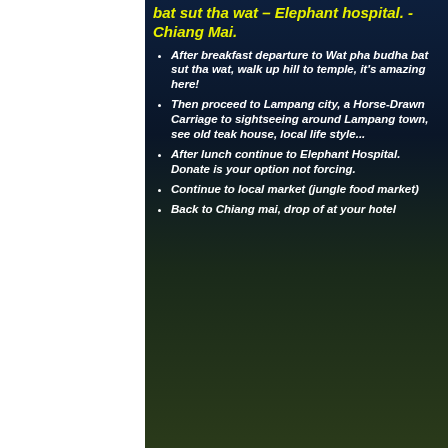bat sut tha wat – Elephant hospital.  - Chiang Mai.
After breakfast departure to Wat pha budha bat sut tha wat, walk up hill to temple, it's amazing here!
Then proceed to Lampang city, a Horse-Drawn Carriage to sightseeing around Lampang town, see old teak house, local life style...
After lunch continue to Elephant Hospital. Donate is your option not forcing.
Continue to local market (jungle food market)
Back to Chiang mai, drop of at your hotel